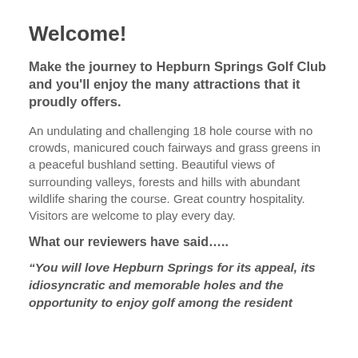Welcome!
Make the journey to Hepburn Springs Golf Club and you'll enjoy the many attractions that it proudly offers.
An undulating and challenging 18 hole course with no crowds, manicured couch fairways and grass greens in a peaceful bushland setting. Beautiful views of surrounding valleys, forests and hills with abundant wildlife sharing the course. Great country hospitality. Visitors are welcome to play every day.
What our reviewers have said…..
“You will love Hepburn Springs for its appeal, its idiosyncratic and memorable holes and the opportunity to enjoy golf among the resident